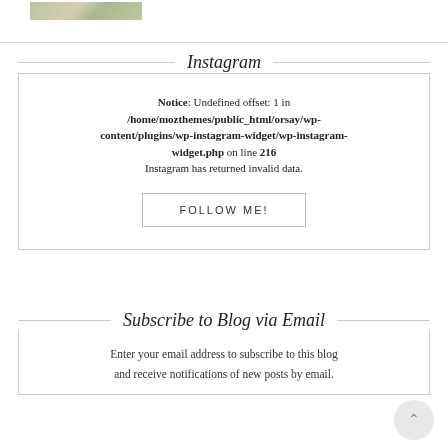[Figure (photo): Small thumbnail image of outdoor/nature scene at top of page]
Instagram
Notice: Undefined offset: 1 in /home/mozthemes/public_html/orsay/wp-content/plugins/wp-instagram-widget/wp-instagram-widget.php on line 216
Instagram has returned invalid data.
FOLLOW ME!
Subscribe to Blog via Email
Enter your email address to subscribe to this blog and receive notifications of new posts by email.